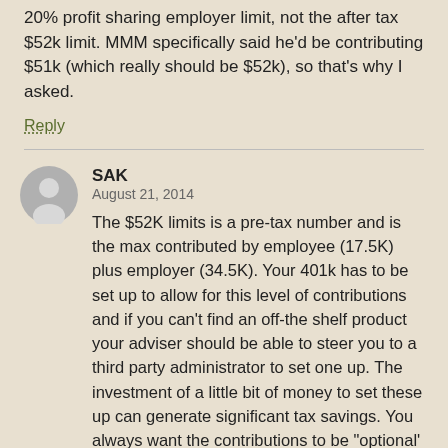20% profit sharing employer limit, not the after tax $52k limit. MMM specifically said he'd be contributing $51k (which really should be $52k), so that's why I asked.
Reply
SAK
August 21, 2014
The $52K limits is a pre-tax number and is the max contributed by employee (17.5K) plus employer (34.5K). Your 401k has to be set up to allow for this level of contributions and if you can't find an off-the shelf product your adviser should be able to steer you to a third party administrator to set one up. The investment of a little bit of money to set these up can generate significant tax savings. You always want the contributions to be "optional' (employee and employer) in case you have a cash flow issue or other need for the money. This works when you are a small business – basically self-employed or with a partner or two (spouse or otherwise). The additional 5.5K possible is an employee contribution if over 50.